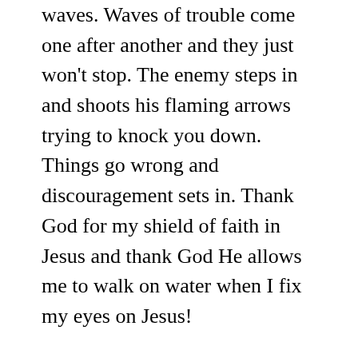waves. Waves of trouble come one after another and they just won't stop. The enemy steps in and shoots his flaming arrows trying to knock you down. Things go wrong and discouragement sets in. Thank God for my shield of faith in Jesus and thank God He allows me to walk on water when I fix my eyes on Jesus!
My wife and kids are home today because of the big blizzard we are getting right now, so I have a chance to catch my breath. Our daughter had strep two weeks ago and she was on antibiotics for ten days. She took her last dose last Wednesday and she was feeling great, then she got sick again over the weekend. She had already missed several days of school and she